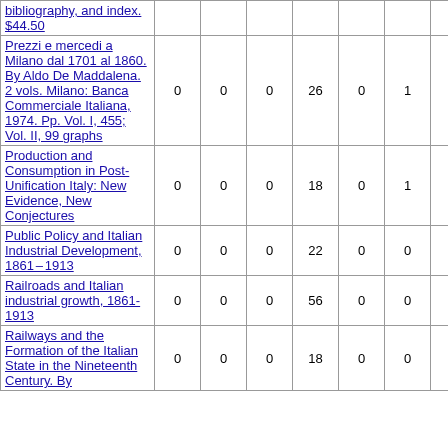| Title | Col1 | Col2 | Col3 | Col4 | Col5 | Col6 | Col7 | Col8 |
| --- | --- | --- | --- | --- | --- | --- | --- | --- |
| bibliography, and index. $44.50 |  |  |  |  |  |  |  |  |
| Prezzi e mercedi a Milano dal 1701 al 1860. By Aldo De Maddalena. 2 vols. Milano: Banca Commerciale Italiana, 1974. Pp. Vol. I, 455; Vol. II, 99 graphs | 0 | 0 | 0 | 26 | 0 | 1 | 4 | 82 |
| Production and Consumption in Post-Unification Italy: New Evidence, New Conjectures | 0 | 0 | 0 | 18 | 0 | 1 | 4 | 81 |
| Public Policy and Italian Industrial Development, 1861–1913 | 0 | 0 | 0 | 22 | 0 | 0 | 0 | 51 |
| Railroads and Italian industrial growth, 1861-1913 | 0 | 0 | 0 | 56 | 0 | 0 | 1 | 187 |
| Railways and the Formation of the Italian State in the Nineteenth Century. By | 0 | 0 | 0 | 18 | 0 | 0 | 2 | 53 |